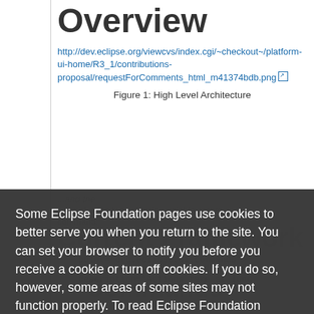Overview
http://dev.eclipse.org/viewcvs/index.cgi/~checkout~/platform-ui-home/R3_1/contributions-proposal/requestForComments_html_m41374bdb.png
Figure 1: High Level Architecture
Current Framework
Commands
Some Eclipse Foundation pages use cookies to better serve you when you return to the site. You can set your browser to notify you before you receive a cookie or turn off cookies. If you do so, however, some areas of some sites may not function properly. To read Eclipse Foundation Privacy Policy click here.
Decline
Allow cookies